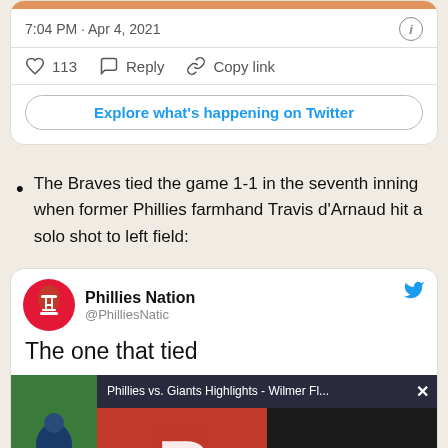[Figure (screenshot): Top of a Twitter card with orange bar, showing 7:04 PM · Apr 4, 2021 timestamp, info icon, like/reply/copy link actions, and Explore what's happening on Twitter button]
The Braves tied the game 1-1 in the seventh inning when former Phillies farmhand Travis d'Arnaud hit a solo shot to left field:
[Figure (screenshot): Embedded tweet from Phillies Nation (@PhilliesNation) with partial text 'The one that tied' and a video overlay popup showing 'Phillies vs. Giants Highlights - Wilmer Fl...' with Phillies P logo and Giants SF logo visible, plus a mute button]